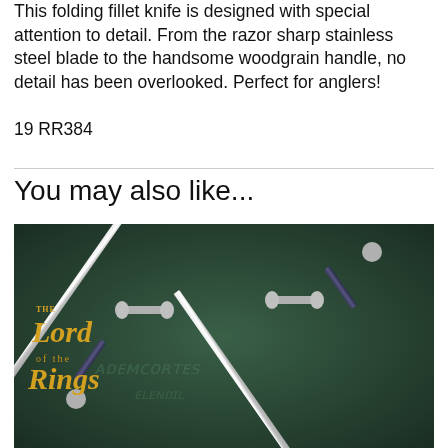This folding fillet knife is designed with special attention to detail. From the razor sharp stainless steel blade to the handsome woodgrain handle, no detail has been overlooked. Perfect for anglers!
19 RR384
You may also like...
[Figure (photo): Lord of the Rings themed image showing two crossed medieval swords over a dark green background with Elvish script, with 'THE LORD OF THE RINGS' logo in gold text on the left side.]